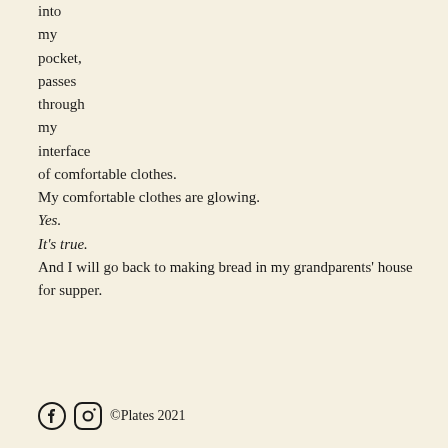into
my
pocket,
passes
through
my
interface
of comfortable clothes.
My comfortable clothes are glowing.
Yes.
It's true.
And I will go back to making bread in my grandparents' house for supper.
©Plates 2021